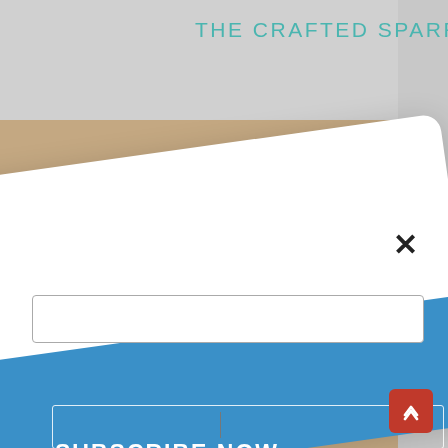THE CRAFTED SPARROW
[Figure (screenshot): Website screenshot showing a subscription popup modal on 'The Crafted Sparrow' blog. The modal is rotated slightly and contains an email input field and a blue 'SUBSCRIBE NOW' button. Background shows a kraft paper with white polka dots. A red scroll-to-top button is in the bottom right corner.]